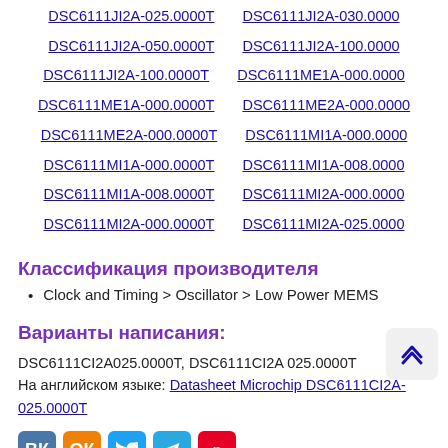DSC6111JI2A-025.0000T
DSC6111JI2A-030.0000
DSC6111JI2A-050.0000T
DSC6111JI2A-100.0000
DSC6111JI2A-100.0000T
DSC6111ME1A-000.0000
DSC6111ME1A-000.0000T
DSC6111ME2A-000.0000
DSC6111ME2A-000.0000T
DSC6111MI1A-000.0000
DSC6111MI1A-000.0000T
DSC6111MI1A-008.0000
DSC6111MI1A-008.0000T
DSC6111MI2A-000.0000
DSC6111MI2A-000.0000T
DSC6111MI2A-025.0000
Классификация производителя
Clock and Timing > Oscillator > Low Power MEMS
Варианты написания:
DSC6111CI2A025.0000T, DSC6111CI2A 025.0000T
На английском языке: Datasheet Microchip DSC6111CI2A-025.0000T
Social sharing buttons: ВК, ОК, Twitter, Telegram, Pinterest
Хотите получать уведомления о выходе новых